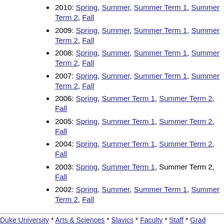2010: Spring, Summer, Summer Term 1, Summer Term 2, Fall
2009: Spring, Summer, Summer Term 1, Summer Term 2, Fall
2008: Spring, Summer, Summer Term 1, Summer Term 2, Fall
2007: Spring, Summer, Summer Term 1, Summer Term 2, Fall
2006: Spring, Summer Term 1, Summer Term 2, Fall
2005: Spring, Summer Term 1, Summer Term 2, Fall
2004: Spring, Summer Term 1, Summer Term 2, Fall
2003: Spring, Summer Term 1, Summer Term 2, Fall
2002: Spring, Summer, Summer Term 1, Summer Term 2, Fall
2001: Spring, Summer, Summer Term 1, Summer Term 2, Fall
2000: Spring, Summer, Summer Term 1, Summer Term 2, Fall
Duke University * Arts & Sciences * Slavics * Faculty * Staff * Grad